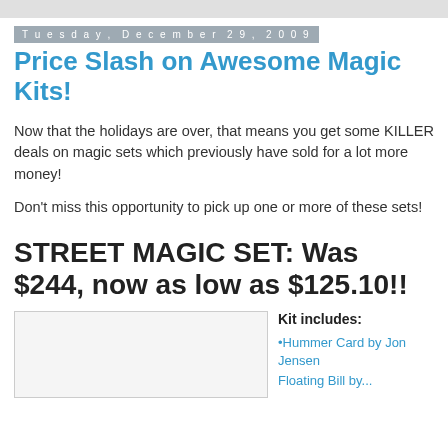Tuesday, December 29, 2009
Price Slash on Awesome Magic Kits!
Now that the holidays are over, that means you get some KILLER deals on magic sets which previously have sold for a lot more money!
Don't miss this opportunity to pick up one or more of these sets!
STREET MAGIC SET: Was $244, now as low as $125.10!!
[Figure (photo): Image placeholder for street magic set product photo]
Kit includes:
Hummer Card by Jon Jensen
Floating Bill by...